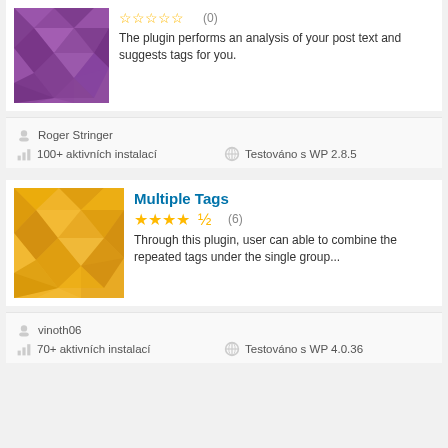[Figure (illustration): Purple geometric/polygon pattern plugin thumbnail]
☆☆☆☆☆ (0)
The plugin performs an analysis of your post text and suggests tags for you.
Roger Stringer
100+ aktivních instalací
Testováno s WP 2.8.5
Multiple Tags
[Figure (illustration): Yellow/orange geometric/polygon pattern plugin thumbnail]
★★★★½ (6)
Through this plugin, user can able to combine the repeated tags under the single group...
vinoth06
70+ aktivních instalací
Testováno s WP 4.0.36